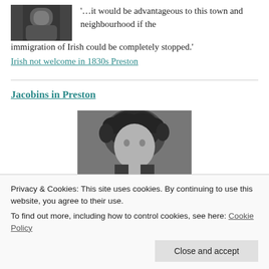[Figure (photo): Small black and white portrait photo of a person, upper left corner]
'…it would be advantageous to this town and neighbourhood if the immigration of Irish could be completely stopped.'
Irish not welcome in 1830s Preston
Jacobins in Preston
[Figure (photo): Black and white engraved portrait of a person with curly hair, centered on page]
Privacy & Cookies: This site uses cookies. By continuing to use this website, you agree to their use.
To find out more, including how to control cookies, see here: Cookie Policy
Close and accept